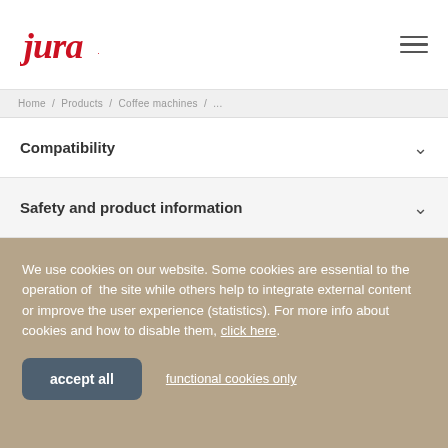Jura logo and hamburger menu
navigation breadcrumb strip
Compatibility
Safety and product information
We use cookies on our website. Some cookies are essential to the operation of the site while others help to integrate external content or improve the user experience (statistics). For more info about cookies and how to disable them, click here.
accept all
functional cookies only